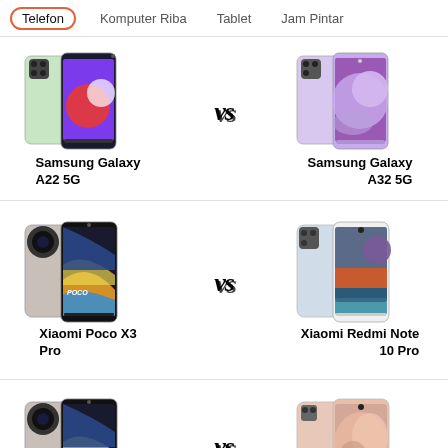Telefon  Komputer Riba  Tablet  Jam Pintar
[Figure (photo): Samsung Galaxy A22 5G vs Samsung Galaxy A32 5G phone comparison with product images]
Samsung Galaxy A22 5G
Samsung Galaxy A32 5G
[Figure (photo): Xiaomi Poco X3 Pro vs Xiaomi Redmi Note 10 Pro phone comparison with product images]
Xiaomi Poco X3 Pro
Xiaomi Redmi Note 10 Pro
[Figure (photo): Xiaomi Poco X3 Pro vs another phone (partial, cropped) comparison with product images]